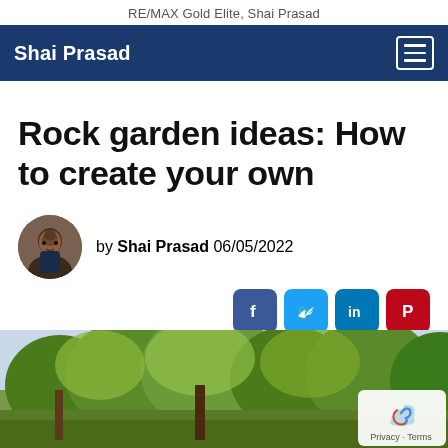RE/MAX Gold Elite, Shai Prasad
Shai Prasad
Rock garden ideas: How to create your own
by Shai Prasad 06/05/2022
[Figure (other): Social media share icons: Facebook, Twitter, LinkedIn, Pinterest]
[Figure (photo): Outdoor garden photo with trees and greenery]